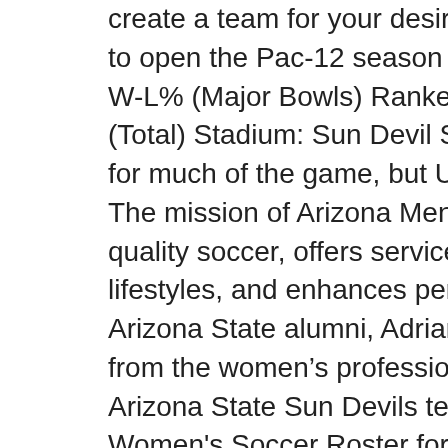create a team for your desired sport. Login to your IMLeagues a to open the Pac-12 season a week ago. Championships: 17 Bow W-L% (Major Bowls) Ranked in AP Poll: 22 Times (Preseason) (Total) Stadium: Sun Devil Stadium, Frank Kush Field (cap. Th for much of the game, but USC scored 14 points in the final thre The mission of Arizona Men’s soccer is to be recognized as a C quality soccer, offers services to the university and Tucson com lifestyles, and enhances personal development through participa Arizona State alumni, Adriana Orozco, has officially signed a c from the women’s professional soccer league in Mexico, Liga M Arizona State Sun Devils team schedule for the current and prev Women's Soccer Roster for the Army West Point Black Knights (W-L-T): 576-358-18 Conferences: Pac-12, Pac-10, WAC, BIA reach the Sports Medicine team: Log in to your Patient Portal. H regarding the college and details on their Women’s Soccer prog recruitment, names of past alumni, what scholarship opportuniti the recruiting process. In recent years, UF has won the Florida I Regionals, and reached the … On average they make $648,000. This is a list of men's college soccer programs in the United Sta